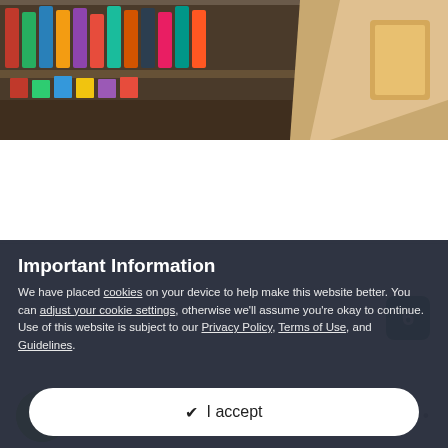[Figure (photo): Partial screenshot of a web page showing a photo of shelves/store with a hand visible, a horizontal divider, a green badge showing the number 6, a user comment section with username JohnC and a green avatar, and a cookie consent overlay at the bottom.]
6
JohnC
Important Information
We have placed cookies on your device to help make this website better. You can adjust your cookie settings, otherwise we'll assume you're okay to continue. Use of this website is subject to our Privacy Policy, Terms of Use, and Guidelines.
✔ I accept